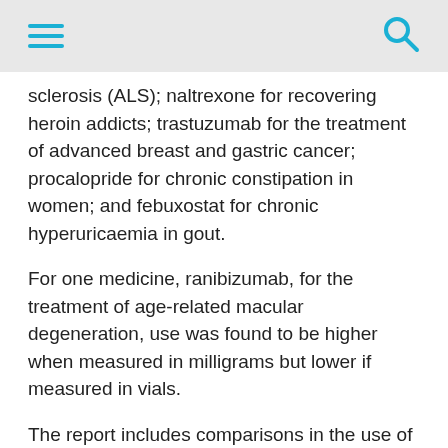[hamburger menu] [search icon]
sclerosis (ALS); naltrexone for recovering heroin addicts; trastuzumab for the treatment of advanced breast and gastric cancer; procalopride for chronic constipation in women; and febuxostat for chronic hyperuricaemia in gout.
For one medicine, ranibizumab, for the treatment of age-related macular degeneration, use was found to be higher when measured in milligrams but lower if measured in vials.
The report includes comparisons in the use of these treatment groups by NHS organisations where patient numbers were large enough to do